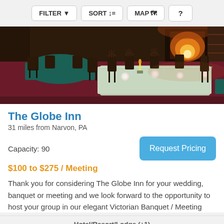FILTER  SORT  MAP  ?
[Figure (photo): Interior photo of The Globe Inn dining room with elegantly set tables with teal tablecloths, Windsor chairs, candles, and a glowing fireplace in the background.]
The Globe Inn
31 miles from Narvon, PA
Capacity: 90
Request Pricing
$100 to $275 / Meeting
Thank you for considering The Globe Inn for your wedding, banquet or meeting and we look forward to the opportunity to host your group in our elegant Victorian Banquet / Meeting
Hotel/Resort/Lodge (+1)